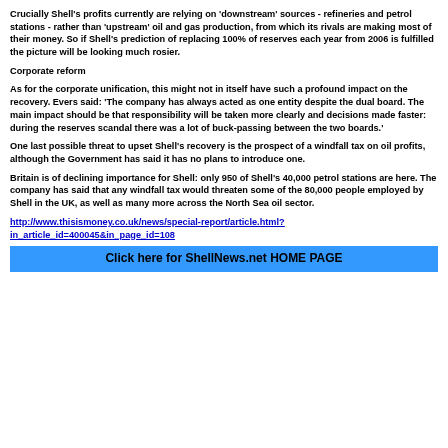Crucially Shell's profits currently are relying on 'downstream' sources - refineries and petrol stations - rather than 'upstream' oil and gas production, from which its rivals are making most of their money. So if Shell's prediction of replacing 100% of reserves each year from 2006 is fulfilled the picture will be looking much rosier.
Corporate reform
As for the corporate unification, this might not in itself have such a profound impact on the recovery. Evers said: 'The company has always acted as one entity despite the dual board. The main impact should be that responsibility will be taken more clearly and decisions made faster: during the reserves scandal there was a lot of buck-passing between the two boards.'
One last possible threat to upset Shell's recovery is the prospect of a windfall tax on oil profits, although the Government has said it has no plans to introduce one.
Britain is of declining importance for Shell: only 950 of Shell's 40,000 petrol stations are here. The company has said that any windfall tax would threaten some of the 80,000 people employed by Shell in the UK, as well as many more across the North Sea oil sector.
http://www.thisismoney.co.uk/news/special-report/article.html?in_article_id=400045&in_page_id=108
Click here for ShellNews.net HOME PAGE